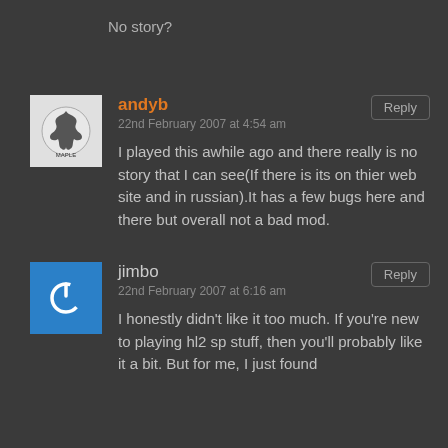No story?
andyb
22nd February 2007 at 4:54 am
I played this awhile ago and there really is no story that I can see(If there is its on thier web site and in russian).It has a few bugs here and there but overall not a bad mod.
jimbo
22nd February 2007 at 6:16 am
I honestly didn't like it too much. If you're new to playing hl2 sp stuff, then you'll probably like it a bit. But for me, I just found